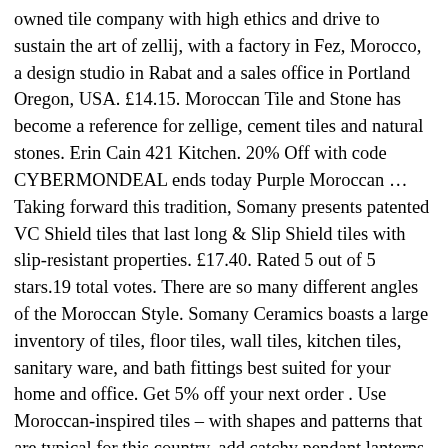owned tile company with high ethics and drive to sustain the art of zellij, with a factory in Fez, Morocco, a design studio in Rabat and a sales office in Portland Oregon, USA. £14.15. Moroccan Tile and Stone has become a reference for zellige, cement tiles and natural stones. Erin Cain 421 Kitchen. 20% Off with code CYBERMONDEAL ends today Purple Moroccan … Taking forward this tradition, Somany presents patented VC Shield tiles that last long & Slip Shield tiles with slip-resistant properties. £17.40. Rated 5 out of 5 stars.19 total votes. There are so many different angles of the Moroccan Style. Somany Ceramics boasts a large inventory of tiles, floor tiles, wall tiles, kitchen tiles, sanitary ware, and bath fittings best suited for your home and office. Get 5% off your next order . Use Moroccan-inspired tiles – with shapes and patterns that are typical for this country, add catchy pendant lanterns, potted greenery, metal hammered sinks and metal jugs as accessories. Marokkanische Fliesen Kleine Badezimmer Ideen Fürs Zeichnen Mosaik Wandbilder Lampen Einfamilienhaus Küchenwandfliesen Marokko. Moroccan Tiles House is a company which excels in fabricating and innovating Handmade Mosaic and Cement Tiles (Moroccan Tiles/Zellige).As a fourth generation family of Moroccan tiles makers we put heart and soul into providing High Quality products with innovative, unique and customized designs that brings together the feeling of tradition and the taste of modernity. We deliver . Moroccan Tiles House is a company which excels in fabricating and innovating Handmade